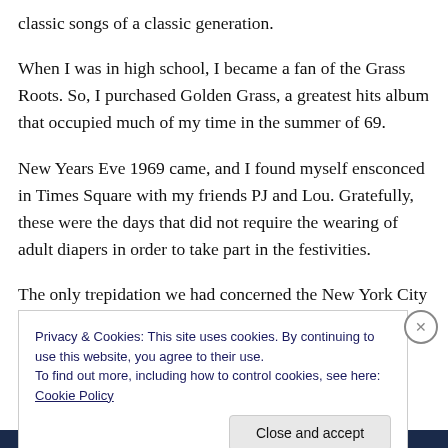classic songs of a classic generation.
When I was in high school, I became a fan of the Grass Roots. So, I purchased Golden Grass, a greatest hits album that occupied much of my time in the summer of 69.
New Years Eve 1969 came, and I found myself ensconced in Times Square with my friends PJ and Lou. Gratefully, these were the days that did not require the wearing of adult diapers in order to take part in the festivities.
The only trepidation we had concerned the New York City
Privacy & Cookies: This site uses cookies. By continuing to use this website, you agree to their use.
To find out more, including how to control cookies, see here: Cookie Policy
Close and accept